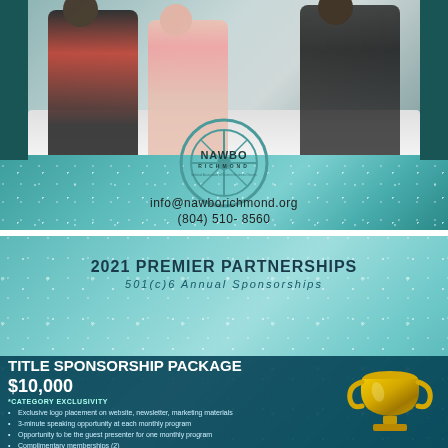[Figure (photo): Photo of women sitting around a conference table in a meeting, with a teal/dark teal border on left and right sides.]
[Figure (logo): NAWBO Richmond logo - circular emblem with steering wheel design, text reads NAWBO RICHMOND, National Association of Women Business Owners]
info@nawborichmond.org
(804) 510- 8560
2021 PREMIER PARTNERSHIPS
501(c)6  Annual Sponsorships
TITLE SPONSORSHIP PACKAGE $10,000
*CATEGORY EXCLUSIVITY
Exclusive logo placement on website, newsletter, marketing materials
3-minute speaking opportunity at each monthly program
Opportunity to be the guest presenter for one monthly program
Complimentary memberships (2)
Complimentary memberships to gift to the business of your choice (2)
Complimentary tickets to monthly events (6)
[Figure (illustration): Gold trophy cup illustration on the right side of the sponsorship section]